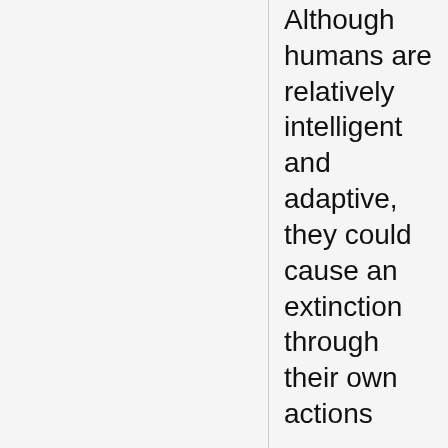Although humans are relatively intelligent and adaptive, they could cause an extinction through their own actions